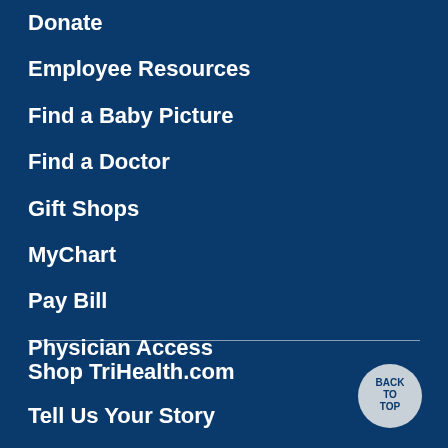Donate
Employee Resources
Find a Baby Picture
Find a Doctor
Gift Shops
MyChart
Pay Bill
Physician Access
Shop TriHealth.com
Tell Us Your Story
Volunteer
[Figure (illustration): Back to Top circular button with text BACK TO TOP in dark blue on a light gray/silver circle]